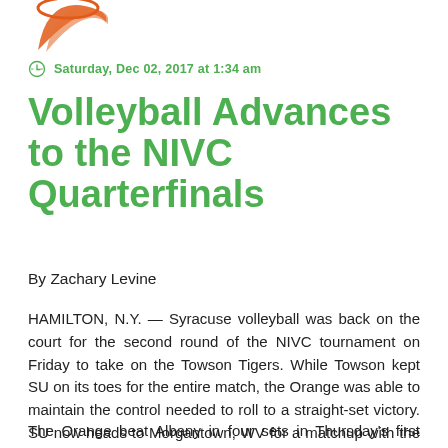[Figure (logo): Partial orange circular logo/swoosh graphic at top left corner]
Saturday, Dec 02, 2017 at 1:34 am
Volleyball Advances to the NIVC Quarterfinals
By Zachary Levine
HAMILTON, N.Y. — Syracuse volleyball was back on the court for the second round of the NIVC tournament on Friday to take on the Towson Tigers. While Towson kept SU on its toes for the entire match, the Orange was able to maintain the control needed to roll to a straight-set victory. SU now heads to Morgantown, WV for a matchup with the Mountaineers on Monday.
The Orange beat Albany in four sets in Thursday's first round NIVC matchup, while the Tigers beat